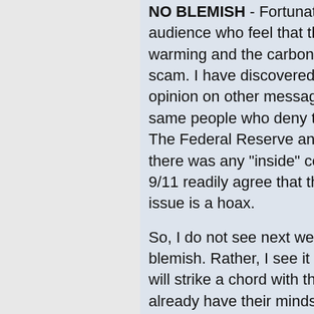NO BLEMISH - Fortunately, there is a huge audience who feel that the manmade global warming and the carbon tax issue is a scam. I have discovered this aspect of opinion on other message boards where the same people who deny the private nature of The Federal Reserve and who deny that there was any "inside" conspiracy about 9/11 readily agree that the global warming issue is a hoax.
So, I do not see next week's show as a blemish. Rather, I see it as a show which will strike a chord with those people who already have their minds made up that the global warming issue is a ruse.
Congr... Inquiry and 28 Missing Pages
Victim families demand release of 28 pages from 9/11 report
WeAre... takes the mic after Super Bowl XLVIII...